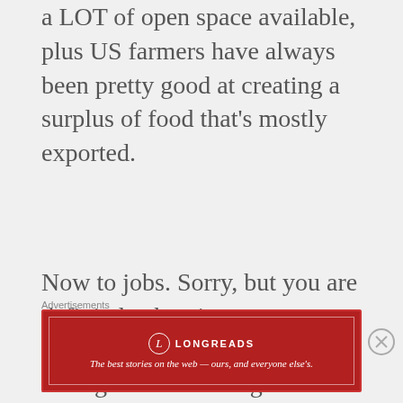a LOT of open space available, plus US farmers have always been pretty good at creating a surplus of food that's mostly exported.
Now to jobs. Sorry, but you are definitely showing your ignorance by saying that immigrants are taking low-wage jobs away from the average American. We're talking about people who do the jobs that the vast majority of white Americans would refuse to do. When I'm in the USA, I see Latinos
Advertisements
[Figure (other): Longreads advertisement banner: dark red background with Longreads logo (L in circle) and tagline 'The best stories on the web — ours, and everyone else's.']